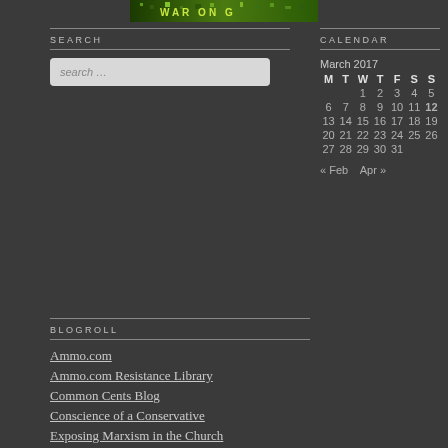[Figure (photo): Green pixel art / banner image at top center]
SEARCH
[Figure (screenshot): Search input box with placeholder text 'search …']
CALENDAR
| M | T | W | T | F | S | S |
| --- | --- | --- | --- | --- | --- | --- |
|  |  | 1 | 2 | 3 | 4 | 5 |
| 6 | 7 | 8 | 9 | 10 | 11 | 12 |
| 13 | 14 | 15 | 16 | 17 | 18 | 19 |
| 20 | 21 | 22 | 23 | 24 | 25 | 26 |
| 27 | 28 | 29 | 30 | 31 |  |  |
« Feb    Apr »
BLOGROLL
Ammo.com
Ammo.com Resistance Library
Common Cents Blog
Conscience of a Conservative
Exposing Marxism in the Church